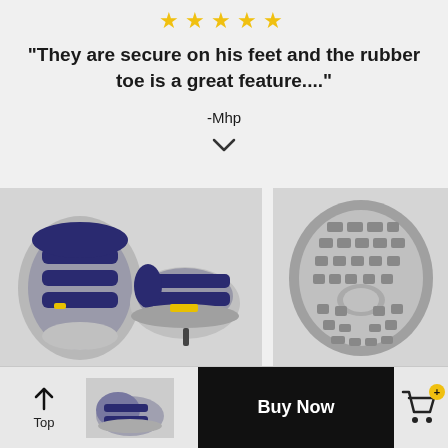[Figure (illustration): Five yellow star rating icons in a row]
"They are secure on his feet and the rubber toe is a great feature...."
-Mhp
v (chevron/expand icon)
[Figure (photo): Two children's KEEN sandals (navy/grey) shown from top and side views, displayed on a light grey background]
[Figure (photo): Bottom/sole view of a KEEN children's sandal showing grey rubber outsole tread pattern]
[Figure (photo): Small thumbnail of KEEN children's sandal in footer navigation]
Top
Buy Now